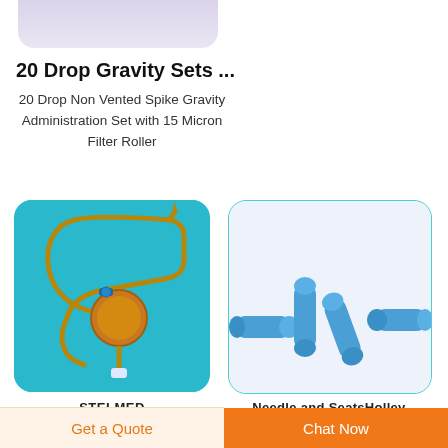[Figure (photo): Partial cropped product card image at top of page showing light purple/lavender rounded rectangle]
20 Drop Gravity Sets ...
20 Drop Non Vented Spike Gravity Administration Set with 15 Micron Filter Roller
[Figure (photo): 20 Drop Gravity Set - tubing coiled on blue background with amber filter chamber and roller clamp]
[Figure (photo): Blue needle caps/syringe caps scattered on white background]
STELMED
Needle and SeatsHolley
Get a Quote
Chat Now